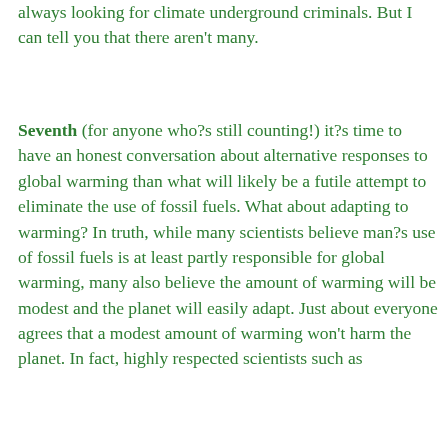always looking for climate underground criminals. But I can tell you that there aren't many.
Seventh (for anyone who?s still counting!) it?s time to have an honest conversation about alternative responses to global warming than what will likely be a futile attempt to eliminate the use of fossil fuels. What about adapting to warming? In truth, while many scientists believe man?s use of fossil fuels is at least partly responsible for global warming, many also believe the amount of warming will be modest and the planet will easily adapt. Just about everyone agrees that a modest amount of warming won't harm the planet. In fact, highly respected scientists such as